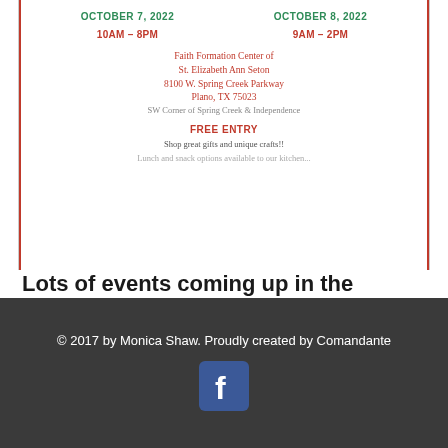[Figure (other): Event flyer snippet showing dates October 7 2022 10AM-8PM and October 8 2022 9AM-2PM, location Faith Formation Center of St. Elizabeth Ann Seton, 8100 W. Spring Creek Parkway, Plano TX 75023, SW Corner of Spring Creek & Independence, FREE ENTRY, Shop great gifts and unique crafts!!, Lunch and snack options available to our kitchen (cropped)]
Lots of events coming up in the fall. Would love to see you there.
10   0
[Figure (other): Hamburger menu button (dark square with three white lines)]
[Figure (other): Carousel navigation dots: three dots, first one active (green), others gray]
© 2017 by Monica Shaw. Proudly created by Comandante
[Figure (logo): Facebook logo icon (blue square with white lowercase f)]